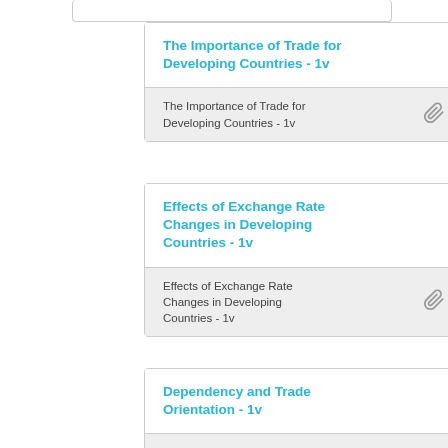The Importance of Trade for Developing Countries - 1v
Effects of Exchange Rate Changes in Developing Countries - 1v
Dependency and Trade Orientation - 1v